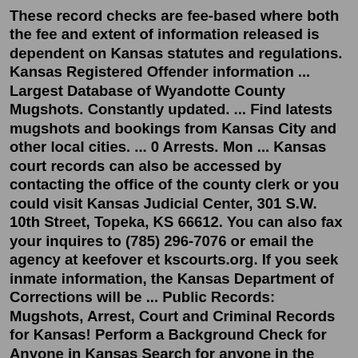These record checks are fee-based where both the fee and extent of information released is dependent on Kansas statutes and regulations. Kansas Registered Offender information ... Largest Database of Wyandotte County Mugshots. Constantly updated. ... Find latests mugshots and bookings from Kansas City and other local cities. ... 0 Arrests. Mon ... Kansas court records can also be accessed by contacting the office of the county clerk or you could visit Kansas Judicial Center, 301 S.W. 10th Street, Topeka, KS 66612. You can also fax your inquires to (785) 296-7076 or email the agency at keefover et kscourts.org. If you seek inmate information, the Kansas Department of Corrections will be ... Public Records: Mugshots, Arrest, Court and Criminal Records for Kansas! Perform a Background Check for Anyone in Kansas Search for anyone in the United States! 100% Confidential! Kansas City officers, agents arrest 25 in drug-trafficking operation. KANSAS CITY, Mo. — A drug-trafficking conspiracy involving more than 200 drug officers ends with the arrests of two dozen